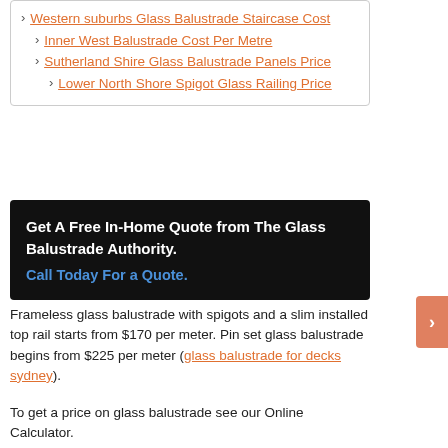› Western suburbs Glass Balustrade Staircase Cost
› Inner West Balustrade Cost Per Metre
› Sutherland Shire Glass Balustrade Panels Price
› Lower North Shore Spigot Glass Railing Price
Get A Free In-Home Quote from The Glass Balustrade Authority. Call Today For a Quote.
Frameless glass balustrade with spigots and a slim installed top rail starts from $170 per meter. Pin set glass balustrade begins from $225 per meter (glass balustrade for decks sydney).
To get a price on glass balustrade see our Online Calculator.